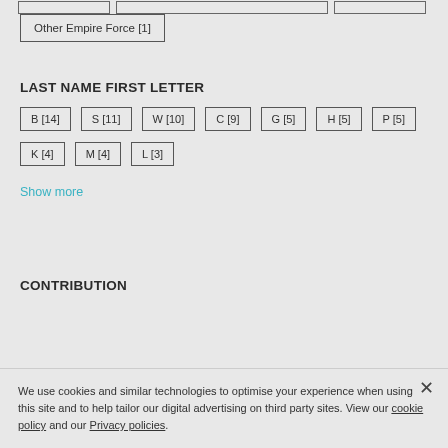Other Empire Force [1]
LAST NAME FIRST LETTER
B [14]
S [11]
W [10]
C [9]
G [5]
H [5]
P [5]
K [4]
M [4]
L [3]
Show more
CONTRIBUTION
We use cookies and similar technologies to optimise your experience when using this site and to help tailor our digital advertising on third party sites. View our cookie policy and our Privacy policies.